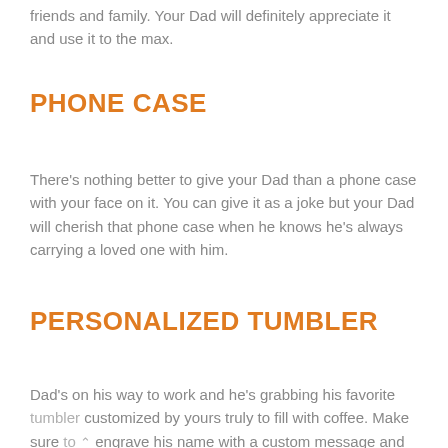friends and family. Your Dad will definitely appreciate it and use it to the max.
PHONE CASE
There's nothing better to give your Dad than a phone case with your face on it. You can give it as a joke but your Dad will cherish that phone case when he knows he's always carrying a loved one with him.
PERSONALIZED TUMBLER
Dad's on his way to work and he's grabbing his favorite tumbler customized by yours truly to fill with coffee. Make sure to engrave his name with a custom message and he'll brag about